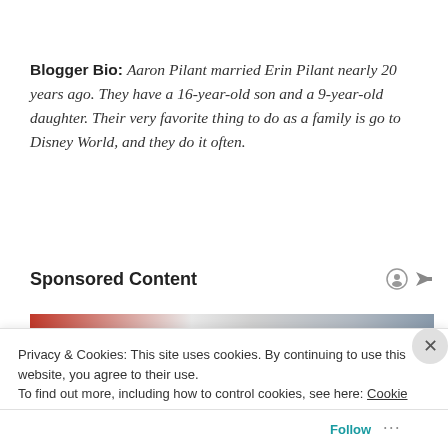Blogger Bio: Aaron Pilant married Erin Pilant nearly 20 years ago. They have a 16-year-old son and a 9-year-old daughter. Their very favorite thing to do as a family is go to Disney World, and they do it often.
Sponsored Content
[Figure (photo): Partial photo showing what appears to be a person with blond hair, partially obscured by a cookie consent banner]
Privacy & Cookies: This site uses cookies. By continuing to use this website, you agree to their use.
To find out more, including how to control cookies, see here: Cookie Policy
Close and accept
Follow ···